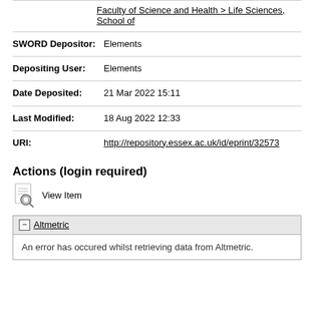Faculty of Science and Health > Life Sciences, School of
| SWORD Depositor: | Elements |
| Depositing User: | Elements |
| Date Deposited: | 21 Mar 2022 15:11 |
| Last Modified: | 18 Aug 2022 12:33 |
| URI: | http://repository.essex.ac.uk/id/eprint/32573 |
Actions (login required)
View Item
Altmetric
An error has occured whilst retrieving data from Altmetric.